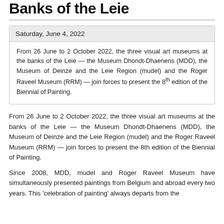Banks of the Leie
Saturday, June 4, 2022
From 26 June to 2 October 2022, the three visual art museums at the banks of the Leie — the Museum Dhondt-Dhaenens (MDD), the Museum of Deinze and the Leie Region (mudel) and the Roger Raveel Museum (RRM) — join forces to present the 8th edition of the Biennial of Painting.
From 26 June to 2 October 2022, the three visual art museums at the banks of the Leie — the Museum Dhondt-Dhaenens (MDD), the Museum of Deinze and the Leie Region (mudel) and the Roger Raveel Museum (RRM) — join forces to present the 8th edition of the Biennial of Painting.
Since 2008, MDD, mudel and Roger Raveel Museum have simultaneously presented paintings from Belgium and abroad every two years. This 'celebration of painting' always departs from the